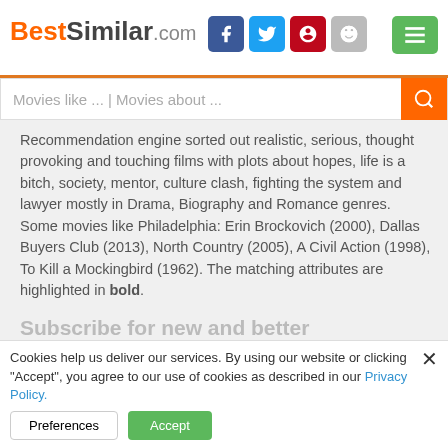BestSimilar.com
Recommendation engine sorted out realistic, serious, thought provoking and touching films with plots about hopes, life is a bitch, society, mentor, culture clash, fighting the system and lawyer mostly in Drama, Biography and Romance genres. Some movies like Philadelphia: Erin Brockovich (2000), Dallas Buyers Club (2013), North Country (2005), A Civil Action (1998), To Kill a Mockingbird (1962). The matching attributes are highlighted in bold.
Subscribe for new and better recommendations:
Erin Brockovich (2000)  7.4
Cookies help us deliver our services. By using our website or clicking "Accept", you agree to our use of cookies as described in our Privacy Policy.